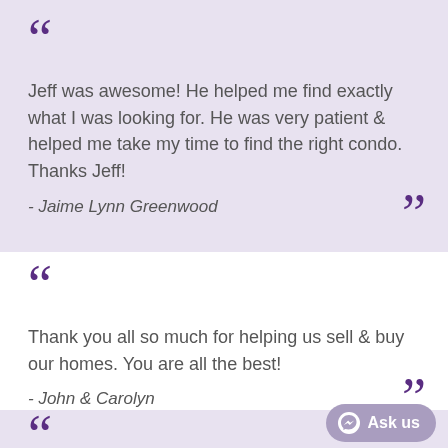Jeff was awesome! He helped me find exactly what I was looking for. He was very patient & helped me take my time to find the right condo. Thanks Jeff!
- Jaime Lynn Greenwood
Thank you all so much for helping us sell & buy our homes. You are all the best!
- John & Carolyn
[Figure (other): Ask us button with Facebook Messenger icon]